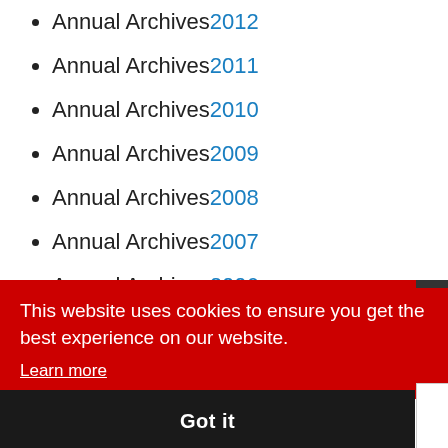Annual Archives 2012
Annual Archives 2011
Annual Archives 2010
Annual Archives 2009
Annual Archives 2008
Annual Archives 2007
Annual Archives 2006
Annual Archives 2000
This website uses cookies to ensure you get the best experience on our website.
Learn more
Got it